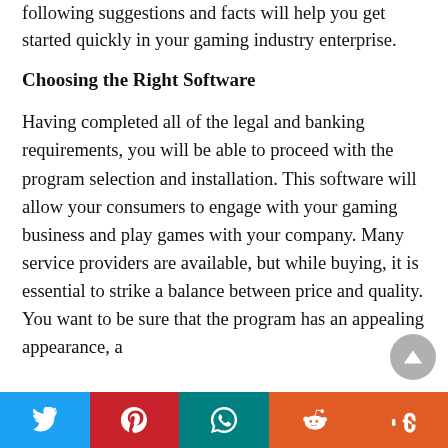following suggestions and facts will help you get started quickly in your gaming industry enterprise.
Choosing the Right Software
Having completed all of the legal and banking requirements, you will be able to proceed with the program selection and installation. This software will allow your consumers to engage with your gaming business and play games with your company. Many service providers are available, but while buying, it is essential to strike a balance between price and quality. You want to be sure that the program has an appealing appearance, a